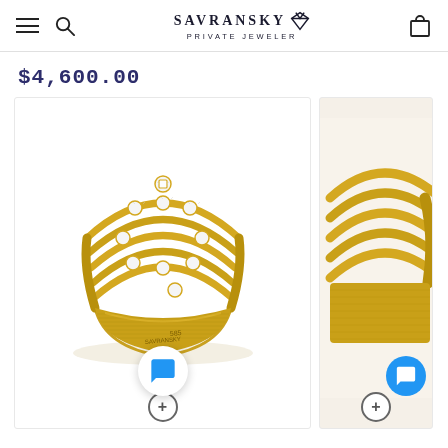SAVRANSKY PRIVATE JEWELER
$4,600.00
[Figure (photo): Gold multi-strand ring with scatter-set round diamonds in 14k yellow gold textured finish, stamp reading 585 and SAVRANSKY]
[Figure (photo): Partial view of second gold multi-strand ring product, cropped on right side]